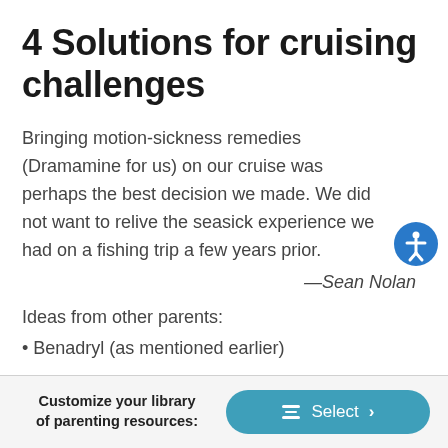4 Solutions for cruising challenges
Bringing motion-sickness remedies (Dramamine for us) on our cruise was perhaps the best decision we made. We did not want to relive the seasick experience we had on a fishing trip a few years prior.
—Sean Nolan
Ideas from other parents:
Benadryl (as mentioned earlier)
Customize your library of parenting resources: Select